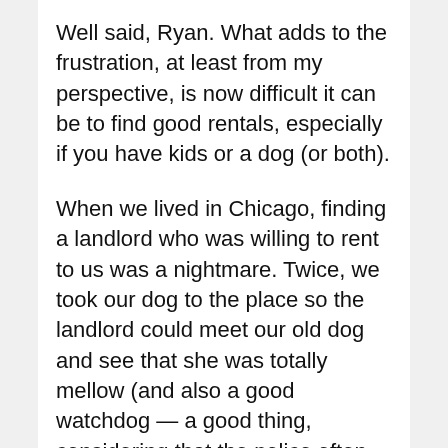Well said, Ryan. What adds to the frustration, at least from my perspective, is now difficult it can be to find good rentals, especially if you have kids or a dog (or both).
When we lived in Chicago, finding a landlord who was willing to rent to us was a nightmare. Twice, we took our dog to the place so the landlord could meet our old dog and see that she was totally mellow (and also a good watchdog — a good thing, considering that the police often say dogs are the best form of security). But landlords were generally convinced that dogs would tear up the place and poop everywhere (and that's what a security